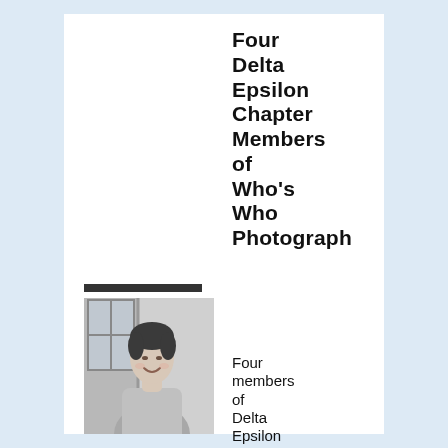Four Delta Epsilon Chapter Members of Who's Who Photograph
[Figure (photo): Black and white photograph of a young person smiling, wearing a sweatshirt, photographed outdoors near a building with a window visible in the background.]
Four members of Delta Epsilon Chapter who